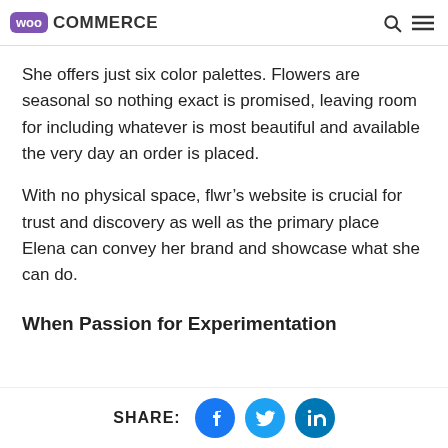WooCommerce
She offers just six color palettes. Flowers are seasonal so nothing exact is promised, leaving room for including whatever is most beautiful and available the very day an order is placed.
With no physical space, flwr’s website is crucial for trust and discovery as well as the primary place Elena can convey her brand and showcase what she can do.
When Passion for Experimentation
SHARE: